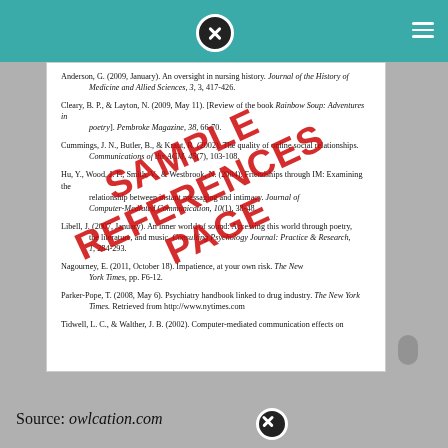Anderson, G. (2009, January). An oversight in nursing history. Journal of the History of Medicine and Allied Sciences, 3, 3, 417-426.
Cleary, B. P., & Layton, N. (2009, May 11). [Review of the book Rainbow Soup: Adventures in poetry]. Pembroke Magazine, 38, 66-70.
Cummings, J. N., Butler, B., & Kraut, R. (2002). The quality of online social relationships. Communications of the ACM, 45(7), 103-108.
Hu, Y., Wood, J. F., Smith, V., & Westbrook, N. (2004). Friendships through IM: Examining the relationship between instant messaging and intimacy. Journal of Computer-Mediated Communication, 10(1), 38-48.
Libell, J. (2007, January). An inner world of sound: Accessing this world through poetry, the literature, and music. Consulting Psychology Journal: Practice & Research, 1, 284-293.
Nagourney, E. (2011, October 18). Impatience, at your own risk. The New York Times, pp. F6-12.
Parker-Pope, T. (2008, May 6). Psychiatry handbook linked to drug industry. The New York Times. Retrieved from http://www.nytimes.com
Tidwell, L. C., & Walther, J. B. (2002). Computer-mediated communication effects on
Source: owlcation.com